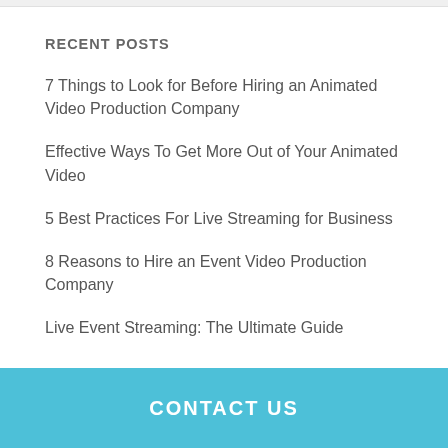RECENT POSTS
7 Things to Look for Before Hiring an Animated Video Production Company
Effective Ways To Get More Out of Your Animated Video
5 Best Practices For Live Streaming for Business
8 Reasons to Hire an Event Video Production Company
Live Event Streaming: The Ultimate Guide
CONTACT US